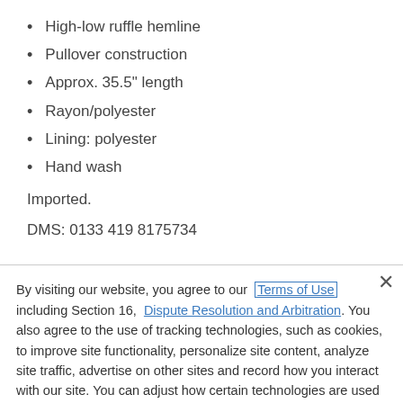High-low ruffle hemline
Pullover construction
Approx. 35.5" length
Rayon/polyester
Lining: polyester
Hand wash
Imported.
DMS: 0133 419 8175734
By visiting our website, you agree to our Terms of Use including Section 16, Dispute Resolution and Arbitration. You also agree to the use of tracking technologies, such as cookies, to improve site functionality, personalize site content, analyze site traffic, advertise on other sites and record how you interact with our site. You can adjust how certain technologies are used on our site through Cookie Settings.